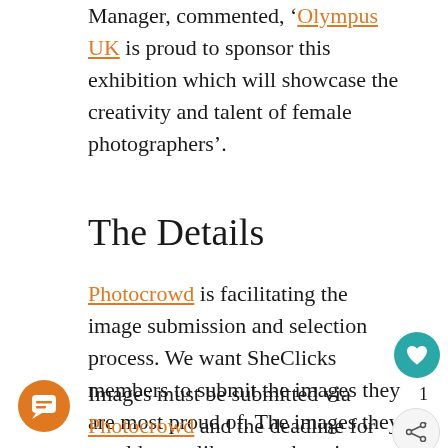Manager, commented, ‘Olympus UK is proud to sponsor this exhibition which will showcase the creativity and talent of female photographers’.
The Details
Photocrowd is facilitating the image submission and selection process. We want SheClicks members to submit the images they are most proud of. The images they would most like to see hanging on a wall. The images can be shot on any subject with any camera.
Images must be submitted via Photocrowd and the deadline for submission is 30th June 2019.